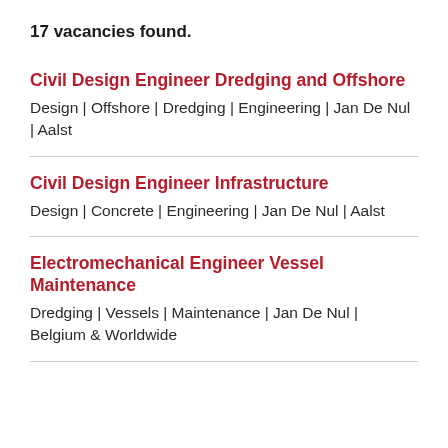17 vacancies found.
Civil Design Engineer Dredging and Offshore
Design | Offshore | Dredging | Engineering | Jan De Nul | Aalst
Civil Design Engineer Infrastructure
Design | Concrete | Engineering | Jan De Nul | Aalst
Electromechanical Engineer Vessel Maintenance
Dredging | Vessels | Maintenance | Jan De Nul | Belgium & Worldwide